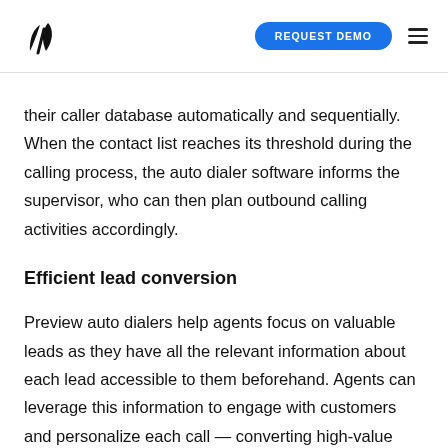REQUEST DEMO
their caller database automatically and sequentially. When the contact list reaches its threshold during the calling process, the auto dialer software informs the supervisor, who can then plan outbound calling activities accordingly.
Efficient lead conversion
Preview auto dialers help agents focus on valuable leads as they have all the relevant information about each lead accessible to them beforehand. Agents can leverage this information to engage with customers and personalize each call — converting high-value leads into sales efficiently.